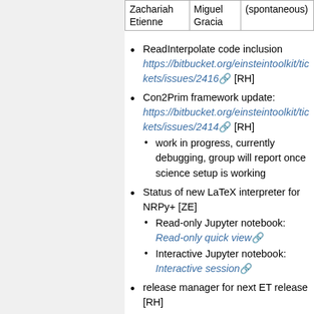| Zachariah Etienne | Miguel Gracia | (spontaneous) |
| --- | --- | --- |
ReadInterpolate code inclusion https://bitbucket.org/einsteintoolkit/tickets/issues/2416 [RH]
Con2Prim framework update: https://bitbucket.org/einsteintoolkit/tickets/issues/2414 [RH]
work in progress, currently debugging, group will report once science setup is working
Status of new LaTeX interpreter for NRPy+ [ZE]
Read-only Jupyter notebook: Read-only quick view
Interactive Jupyter notebook: Interactive session
release manager for next ET release [RH]